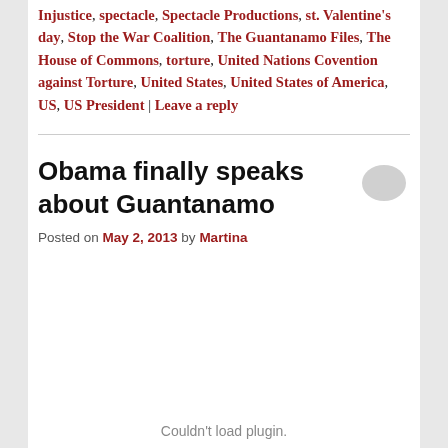Injustice, spectacle, Spectacle Productions, st. Valentine's day, Stop the War Coalition, The Guantanamo Files, The House of Commons, torture, United Nations Covention against Torture, United States, United States of America, US, US President | Leave a reply
Obama finally speaks about Guantanamo
Posted on May 2, 2013 by Martina
Couldn't load plugin.